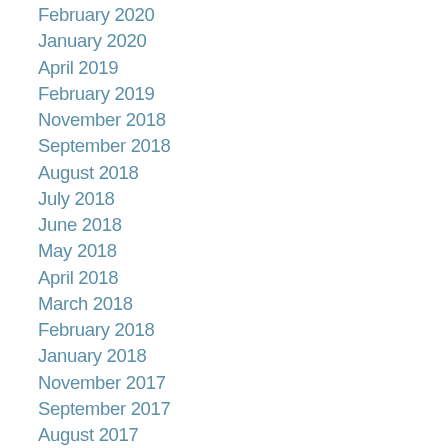February 2020
January 2020
April 2019
February 2019
November 2018
September 2018
August 2018
July 2018
June 2018
May 2018
April 2018
March 2018
February 2018
January 2018
November 2017
September 2017
August 2017
July 2017
June 2017
May 2017
April 2017